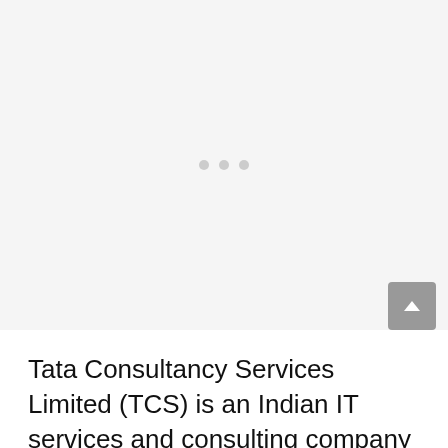[Figure (other): Loading placeholder area with three grey dots centered in a light grey rectangle]
Tata Consultancy Services Limited (TCS) is an Indian IT services and consulting company that offers a variety of services from software management and